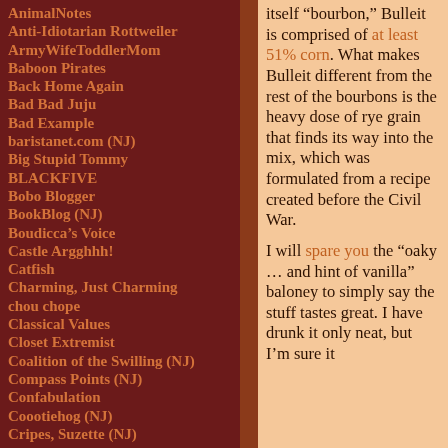AnimalNotes
Anti-Idiotarian Rottweiler
ArmyWifeToddlerMom
Baboon Pirates
Back Home Again
Bad Bad Juju
Bad Example
baristanet.com (NJ)
Big Stupid Tommy
BLACKFIVE
Bobo Blogger
BookBlog (NJ)
Boudicca's Voice
Castle Argghhh!
Catfish
Charming, Just Charming
chou chope
Classical Values
Closet Extremist
Coalition of the Swilling (NJ)
Compass Points (NJ)
Confabulation
Coootiehog (NJ)
Cripes, Suzette (NJ)
itself “bourbon,” Bulleit is comprised of at least 51% corn. What makes Bulleit different from the rest of the bourbons is the heavy dose of rye grain that finds its way into the mix, which was formulated from a recipe created before the Civil War.

I will spare you the “oaky … and hint of vanilla” baloney to simply say the stuff tastes great. I have drunk it only neat, but I’m sure it